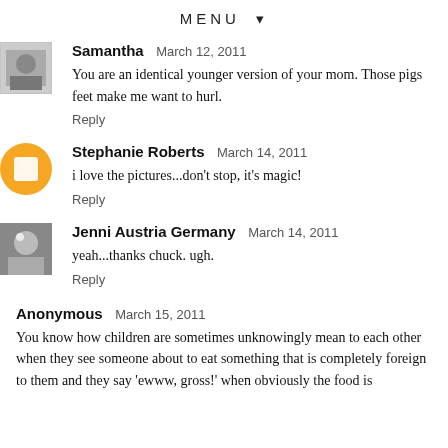MENU ▼
Samantha   March 12, 2011
You are an identical younger version of your mom. Those pigs feet make me want to hurl.
Reply
Stephanie Roberts   March 14, 2011
i love the pictures...don't stop, it's magic!
Reply
Jenni Austria Germany   March 14, 2011
yeah...thanks chuck. ugh.
Reply
Anonymous   March 15, 2011
You know how children are sometimes unknowingly mean to each other when they see someone about to eat something that is completely foreign to them and they say 'ewww, gross!' when obviously the food is